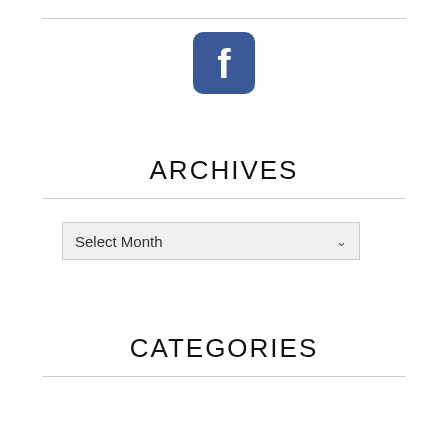[Figure (logo): Facebook logo icon — blue rounded square with white lowercase 'f']
ARCHIVES
[Figure (other): Dropdown select box labeled 'Select Month' with a chevron arrow on the right]
CATEGORIES
Commentary